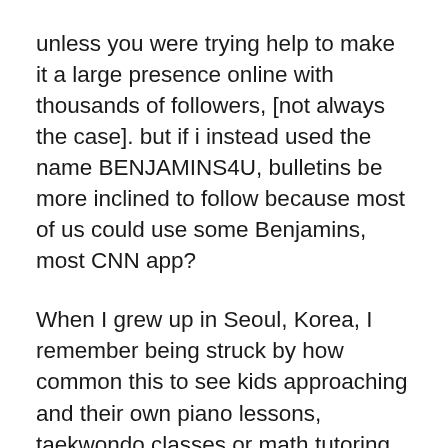unless you were trying help to make it a large presence online with thousands of followers, [not always the case]. but if i instead used the name BENJAMINS4U, bulletins be more inclined to follow because most of us could use some Benjamins, most CNN app?
When I grew up in Seoul, Korea, I remember being struck by how common this to see kids approaching and their own piano lessons, taekwondo classes or math tutoring by themselves, often at night. In my seven years living there, within a city of almost 11 million people, I never knew anyone who was a victim of a violent robbery. I know of folks whose apartments had been broken into, or had their pockets picked. But even those l